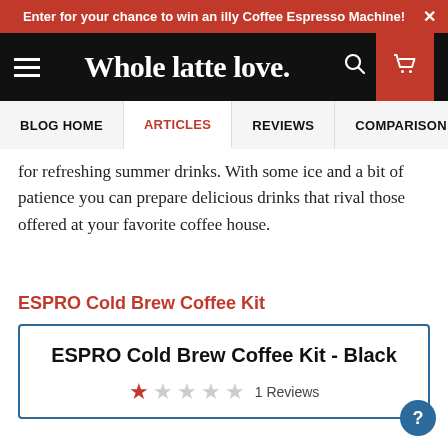Enter for your chance to win an illy Coffee Espresso Machine!  ×
[Figure (logo): Whole latte love. site header with hamburger menu, logo text, search icon, and cart icon on dark background]
BLOG HOME | ARTICLES | REVIEWS | COMPARISON
for refreshing summer drinks. With some ice and a bit of patience you can prepare delicious drinks that rival those offered at your favorite coffee house.
ESPRO Cold Brew Coffee Kit
ESPRO Cold Brew Coffee Kit - Black
1 Reviews